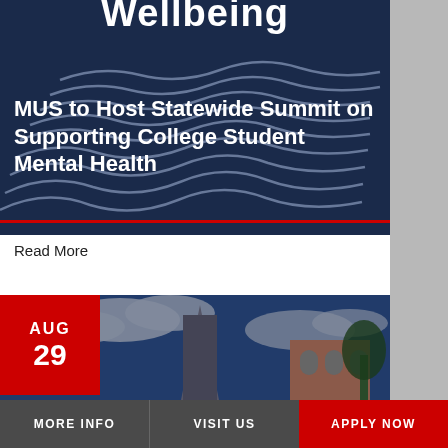[Figure (photo): Navy blue background with wave/wellbeing branding graphic and the word 'wellbeing' at the top, partially cropped]
MUS to Host Statewide Summit on Supporting College Student Mental Health
Read More
[Figure (photo): University campus photo showing a tall spire/steeple and a brick building with arched windows against a blue sky with clouds, partially overlaid with dark navy tint. Date badge showing AUG 29 in red.]
MORE INFO
VISIT US
APPLY NOW